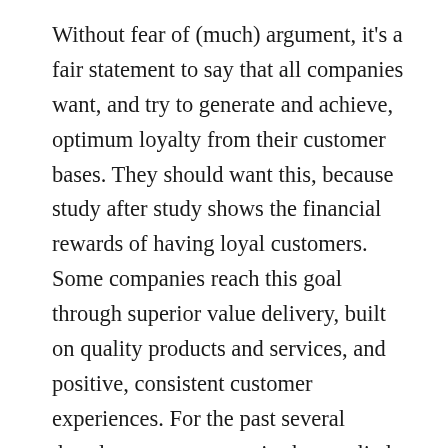Without fear of (much) argument, it's a fair statement to say that all companies want, and try to generate and achieve, optimum loyalty from their customer bases. They should want this, because study after study shows the financial rewards of having loyal customers. Some companies reach this goal through superior value delivery, built on quality products and services, and positive, consistent customer experiences. For the past several decades, many companies have relied on customer loyalty cards or programs, by which they can track purchase behavior and give rewards for repeat and volume buying activity.

Customer loyalty programs are especially